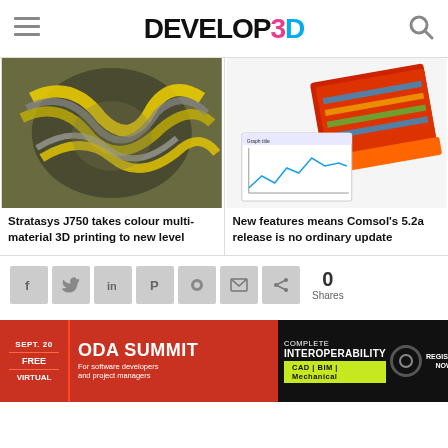DEVELOP3D
[Figure (photo): 3D printed multi-material yellow and grey complex structure]
Stratasys J750 takes colour multi-material 3D printing to new level
[Figure (photo): Red 3D printed part with simulation chart overlay from Comsol]
New features means Comsol's 5.2a release is no ordinary update
[Figure (infographic): Social sharing buttons: Facebook, Twitter, LinkedIn, Pinterest, Reddit, Email, Share. Share count: 0 Shares]
[Figure (infographic): ODA SUMMIT ad banner: Sept. 20 Free Virtual. ODA SUMMIT For software developers and project managers. Complete Interoperability CAD | BIM | Mechanical. Register Now.]